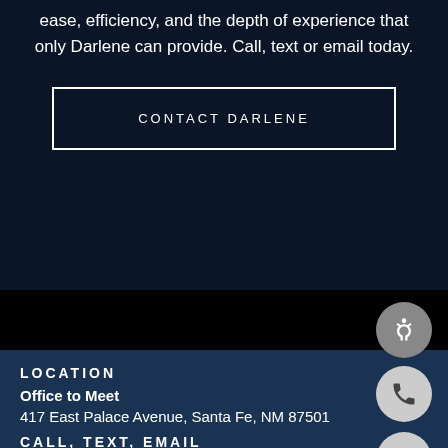ease, efficiency, and the depth of experience that only Darlene can provide. Call, text or email today.
CONTACT DARLENE
LOCATION
Office to Meet
417 East Palace Avenue, Santa Fe, NM 87501
CALL, TEXT, EMAIL